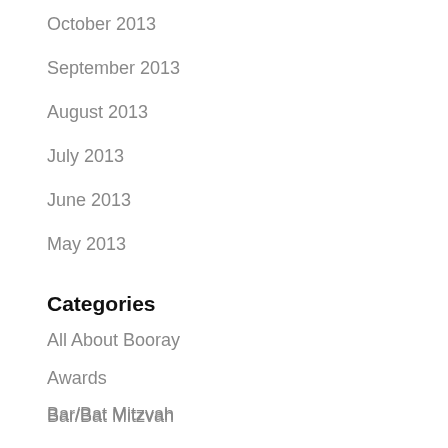October 2013
September 2013
August 2013
July 2013
June 2013
May 2013
Categories
All About Booray
Awards
Bar/Bat Mitzvah
Beach Wedding
Classes